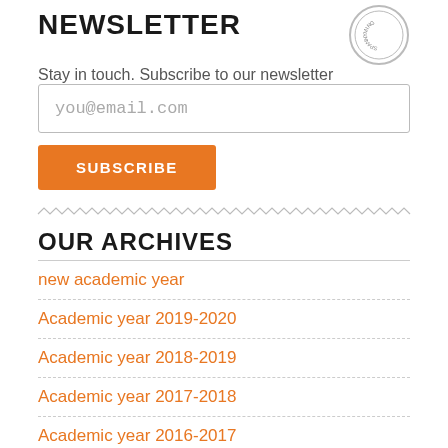NEWSLETTER
Stay in touch. Subscribe to our newsletter
you@email.com
SUBSCRIBE
OUR ARCHIVES
new academic year
Academic year 2019-2020
Academic year 2018-2019
Academic year 2017-2018
Academic year 2016-2017
Academic year 2015-2016